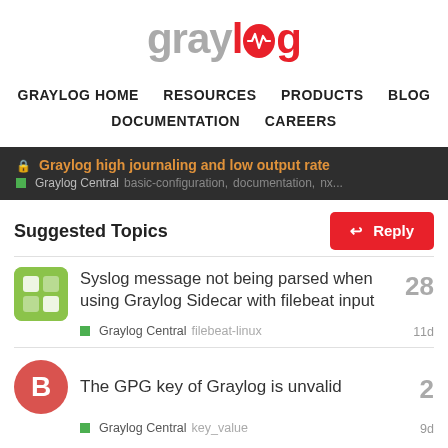[Figure (logo): Graylog logo — 'gray' in gray and 'log' in red with a small heartbeat/waveform icon inside the 'o']
GRAYLOG HOME   RESOURCES   PRODUCTS   BLOG   DOCUMENTATION   CAREERS
Graylog high journaling and low output rate
Graylog Central   basic-configuration,   documentation,   nx...
Suggested Topics
Syslog message not being parsed when using Graylog Sidecar with filebeat input
Graylog Central   filebeat-linux   11d   28
The GPG key of Graylog is unvalid
Graylog Central   key_value   9d   2